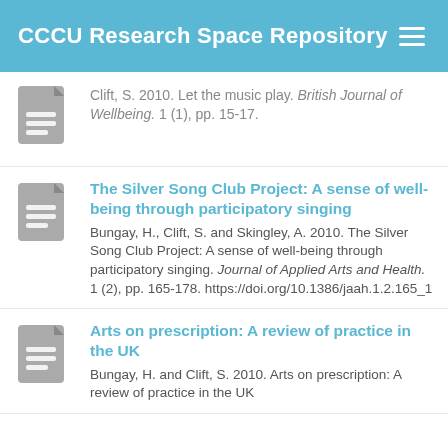CCCU Research Space Repository
Clift, S. 2010. Let the music play. British Journal of Wellbeing. 1 (1), pp. 15-17.
The Silver Song Club Project: A sense of well-being through participatory singing
Bungay, H., Clift, S. and Skingley, A. 2010. The Silver Song Club Project: A sense of well-being through participatory singing. Journal of Applied Arts and Health. 1 (2), pp. 165-178. https://doi.org/10.1386/jaah.1.2.165_1
Arts on prescription: A review of practice in the UK
Bungay, H. and Clift, S. 2010. Arts on prescription: A review of practice in the UK